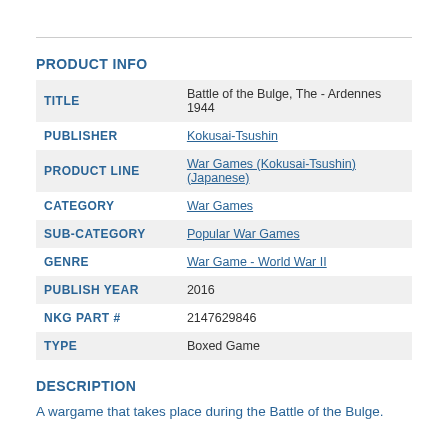PRODUCT INFO
| Field | Value |
| --- | --- |
| TITLE | Battle of the Bulge, The - Ardennes 1944 |
| PUBLISHER | Kokusai-Tsushin |
| PRODUCT LINE | War Games (Kokusai-Tsushin) (Japanese) |
| CATEGORY | War Games |
| SUB-CATEGORY | Popular War Games |
| GENRE | War Game - World War II |
| PUBLISH YEAR | 2016 |
| NKG PART # | 2147629846 |
| TYPE | Boxed Game |
DESCRIPTION
A wargame that takes place during the Battle of the Bulge.